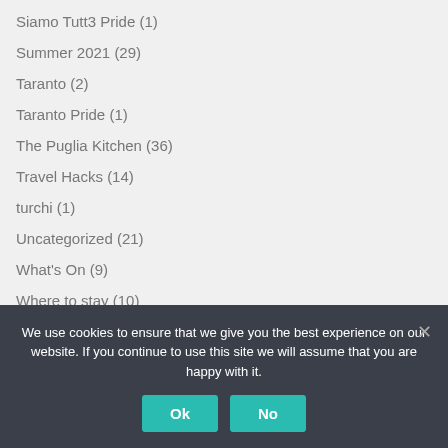Siamo Tutt3 Pride (1)
Summer 2021 (29)
Taranto (2)
Taranto Pride (1)
The Puglia Kitchen (36)
Travel Hacks (14)
turchi (1)
Uncategorized (21)
What's On (9)
Where to stay (10)
Post Archi…
We use cookies to ensure that we give you the best experience on our website. If you continue to use this site we will assume that you are happy with it.